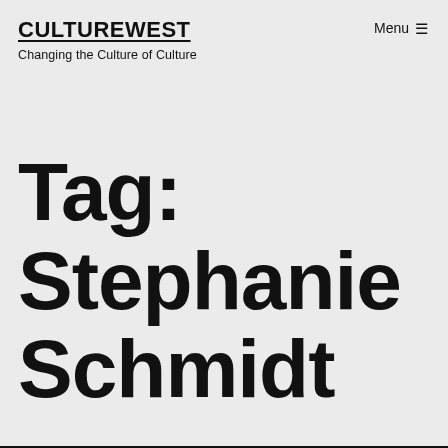CULTUREWEST
Changing the Culture of Culture
Menu ≡
Tag: Stephanie Schmidt